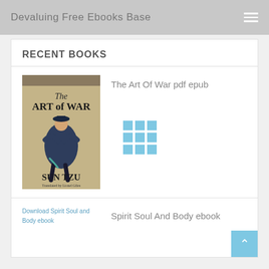Devaluing Free Ebooks Base
RECENT BOOKS
[Figure (illustration): Book cover of The Art of War by Sun Tzu, translated by Lionel Giles. Shows a Chinese warrior figure in blue robes on a tan/beige background.]
The Art Of War pdf epub
[Figure (other): 3x3 grid of blue squares loading spinner/icon]
[Figure (other): Broken image placeholder with alt text: Download Spirit Soul and Body ebook]
Spirit Soul And Body ebook